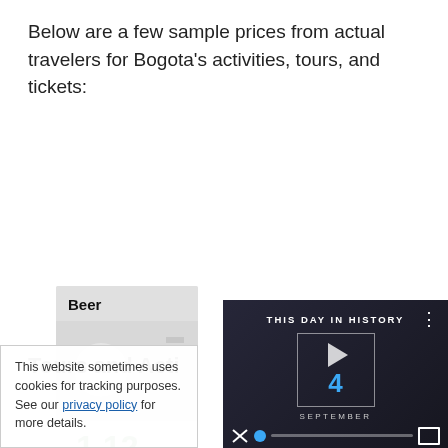Below are a few sample prices from actual travelers for Bogota's activities, tours, and tickets:
[Figure (infographic): Beer price card showing 'Beer' heading with an icon image and price of $1.12 in green]
Tours and Acti...
[Figure (screenshot): Video player panel showing 'THIS DAY IN HISTORY' with date September 4, blue play button, and video controls]
This website sometimes uses cookies for tracking purposes. See our privacy policy for more details.